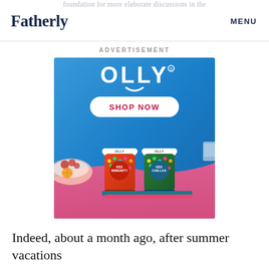foundation for more elaborate discussions in the
Fatherly
MENU
ADVERTISEMENT
[Figure (photo): OLLY brand advertisement showing two OLLY product jars — Kids Immunity and Kids Chillax — on a blue gradient background with a white SHOP NOW button and the OLLY logo at top, surrounded by fruits and school items.]
Indeed, about a month ago, after summer vacations